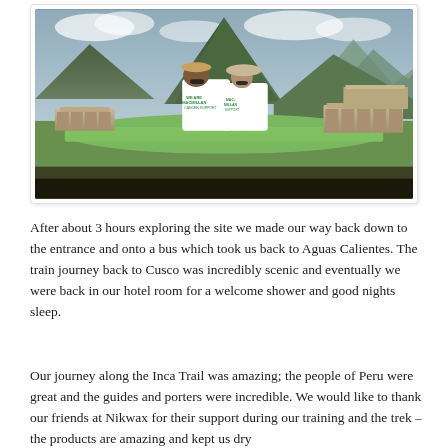[Figure (photo): Two people wearing white Macmillan Cancer Support t-shirts standing at Machu Picchu, Peru. The man wears a tan baseball cap and sunglasses; the woman wears a wide-brimmed hat and sunglasses. Behind them are the iconic Inca ruins, green terraced lawns, and dramatic mountain peaks under a cloudy sky.]
After about 3 hours exploring the site we made our way back down to the entrance and onto a bus which took us back to Aguas Calientes. The train journey back to Cusco was incredibly scenic and eventually we were back in our hotel room for a welcome shower and good nights sleep.
Our journey along the Inca Trail was amazing; the people of Peru were great and the guides and porters were incredible. We would like to thank our friends at Nikwax for their support during our training and the trek – the products are amazing and kept us dry